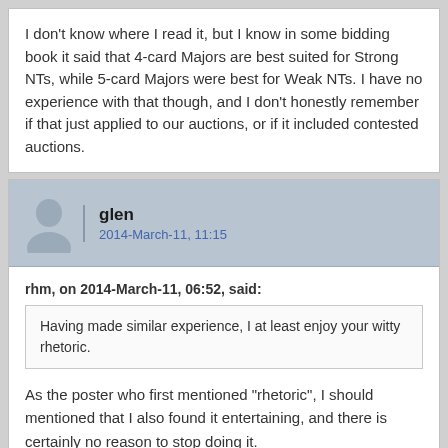I don't know where I read it, but I know in some bidding book it said that 4-card Majors are best suited for Strong NTs, while 5-card Majors were best for Weak NTs. I have no experience with that though, and I don't honestly remember if that just applied to our auctions, or if it included contested auctions.
glen
2014-March-11, 11:15
rhm, on 2014-March-11, 06:52, said:
Having made similar experience, I at least enjoy your witty rhetoric.
As the poster who first mentioned "rhetoric", I should mentioned that I also found it entertaining, and there is certainly no reason to stop doing it.
To five/four card majors, current theory (which might be wrong) is that it is hard to judge competitive auctions when openings have a mix of high frequency balanced and unbalanced hand types.
Thus, according to the theory, the problem with the Blue Team major